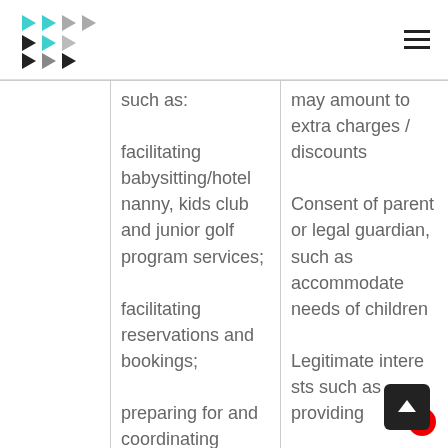|  | such as: | may amount to extra charges / discounts |
| --- | --- | --- |
|  | facilitating babysitting/hotel nanny, kids club and junior golf program services; | may amount to extra charges / discounts |
|  | facilitating reservations and bookings; | Consent of parent or legal guardian, such as accommodating needs of children |
|  | preparing for and coordinating | Legitimate interests such as providing |